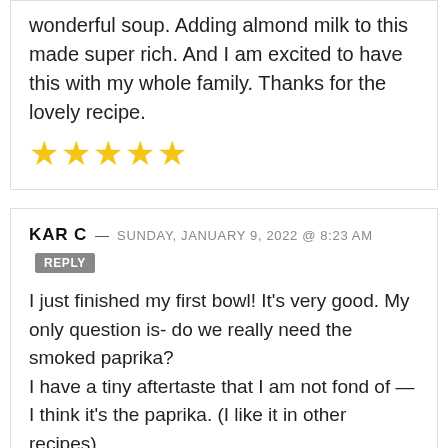wonderful soup. Adding almond milk to this made super rich. And I am excited to have this with my whole family. Thanks for the lovely recipe.
[Figure (other): Five yellow star rating icons]
KAR C — SUNDAY, JANUARY 9, 2022 @ 8:23 AM [REPLY]
I just finished my first bowl! It's very good. My only question is- do we really need the smoked paprika?
I have a tiny aftertaste that I am not fond of — I think it's the paprika. (I like it in other recipes).
[Figure (other): LOVE advertisement banner with decorative letters, and close/Wix branding on the right]